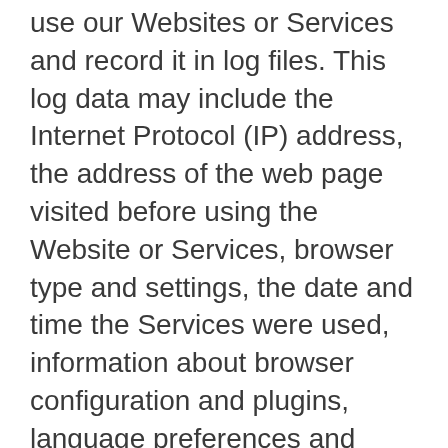use our Websites or Services and record it in log files. This log data may include the Internet Protocol (IP) address, the address of the web page visited before using the Website or Services, browser type and settings, the date and time the Services were used, information about browser configuration and plugins, language preferences and cookie data.
c) Report data. When you or Customer participates and/or generates a decision making tool,